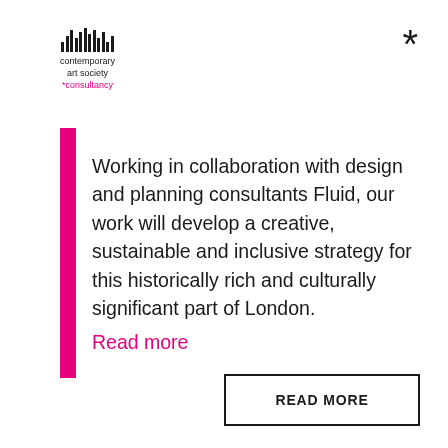[Figure (logo): Contemporary Art Society consultancy logo with vertical bar waveform icon above text 'contemporary art society *consultancy' and asterisk symbol to the right]
Working in collaboration with design and planning consultants Fluid, our work will develop a creative, sustainable and inclusive strategy for this historically rich and culturally significant part of London. Read more
READ MORE